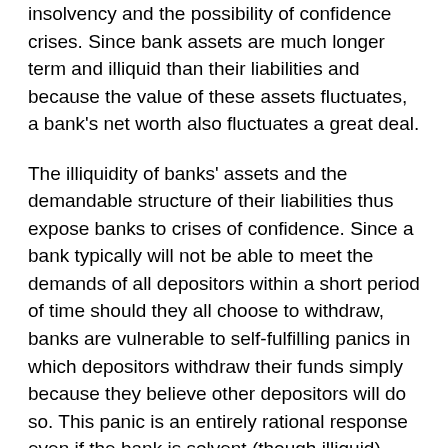insolvency and the possibility of confidence crises. Since bank assets are much longer term and illiquid than their liabilities and because the value of these assets fluctuates, a bank's net worth also fluctuates a great deal.
The illiquidity of banks' assets and the demandable structure of their liabilities thus expose banks to crises of confidence. Since a bank typically will not be able to meet the demands of all depositors within a short period of time should they all choose to withdraw, banks are vulnerable to self-fulfilling panics in which depositors withdraw their funds simply because they believe other depositors will do so. This panic is an entirely rational response even if the bank is solvent (though illiquid).
Governments have a strong incentive to intervene to bail out debt holders of banks in order to prevent the entire financial system from failing. Paradoxically, expectations of such bail-outs increase their risk and create the f...